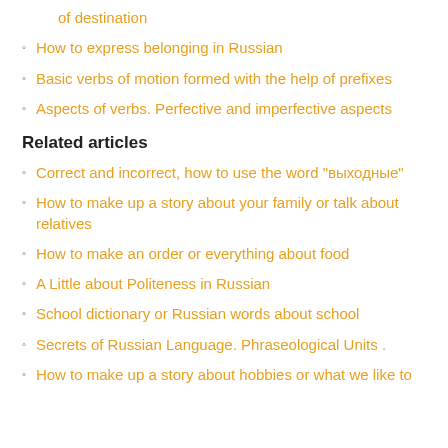of destination
How to express belonging in Russian
Basic verbs of motion formed with the help of prefixes
Aspects of verbs. Perfective and imperfective aspects
Related articles
Correct and incorrect, how to use the word "выходные"
How to make up a story about your family or talk about relatives
How to make an order or everything about food
A Little about Politeness in Russian
School dictionary or Russian words about school
Secrets of Russian Language. Phraseological Units .
How to make up a story about hobbies or what we like to